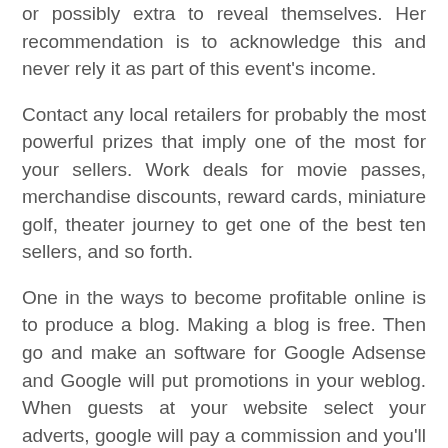or possibly extra to reveal themselves. Her recommendation is to acknowledge this and never rely it as part of this event's income.
Contact any local retailers for probably the most powerful prizes that imply one of the most for your sellers. Work deals for movie passes, merchandise discounts, reward cards, miniature golf, theater journey to get one of the best ten sellers, and so forth.
One in the ways to become profitable online is to produce a blog. Making a blog is free. Then go and make an software for Google Adsense and Google will put promotions in your weblog. When guests at your website select your adverts, google will pay a commission and you'll truly obtain month-to-month installments from Google.
Whereas doing a research for a data sharing session, I got